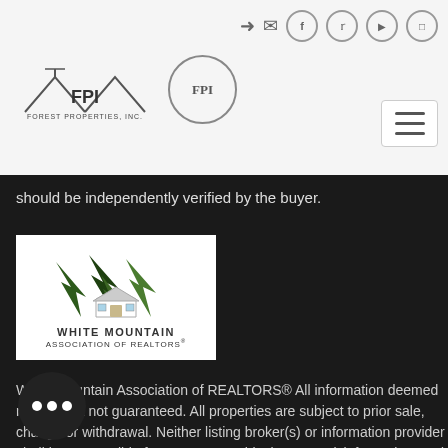[Figure (logo): Forest Properties Inc FPI logo with house roofline graphic and text FOREST PROPERTIES, INC. plus circular FPI badge]
should be independently verified by the buyer.
[Figure (logo): White Mountain Association of REALTORS logo with green pine trees and house illustration]
White Mountain Association of REALTORS® All information deemed reliable but not guaranteed. All properties are subject to prior sale, change or withdrawal. Neither listing broker(s) or information provider(s) shall be responsible for any typographical errors, misinformation, misprints and shall be held totally harmless. Listing(s) information is provided for consumer's personal, non-commercial use and may no